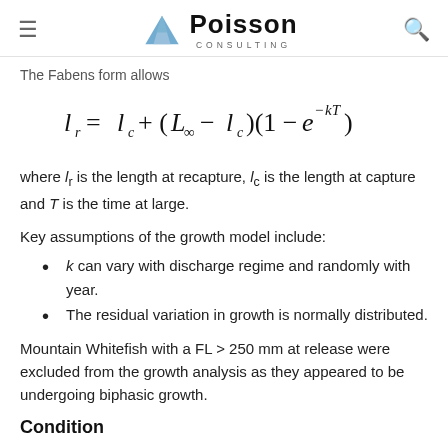Poisson Consulting
The Fabens form allows
where l_r is the length at recapture, l_c is the length at capture and T is the time at large.
Key assumptions of the growth model include:
k can vary with discharge regime and randomly with year.
The residual variation in growth is normally distributed.
Mountain Whitefish with a FL > 250 mm at release were excluded from the growth analysis as they appeared to be undergoing biphasic growth.
Condition